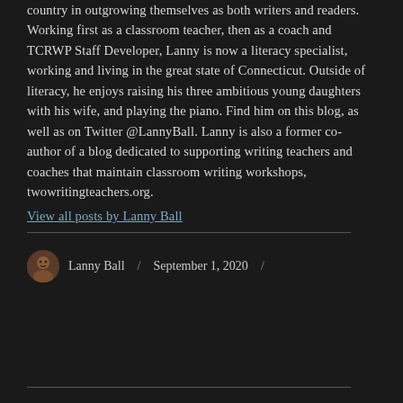country in outgrowing themselves as both writers and readers. Working first as a classroom teacher, then as a coach and TCRWP Staff Developer, Lanny is now a literacy specialist, working and living in the great state of Connecticut. Outside of literacy, he enjoys raising his three ambitious young daughters with his wife, and playing the piano. Find him on this blog, as well as on Twitter @LannyBall. Lanny is also a former co-author of a blog dedicated to supporting writing teachers and coaches that maintain classroom writing workshops, twowritingteachers.org.
View all posts by Lanny Ball
Lanny Ball / September 1, 2020 /